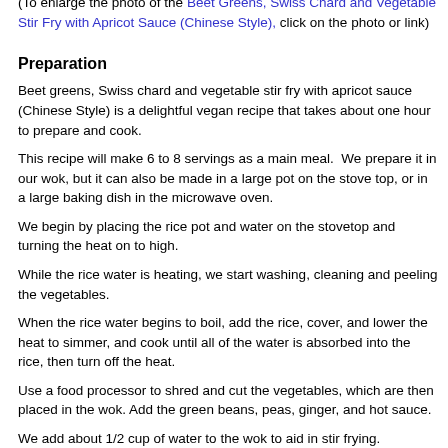1/4 tsp. Smoke Flavor
3 cups Brown Rice cooked in 6 cups Water
(To enlarge the photo of the Beet Greens, Swiss Chard and Vegetable Stir Fry with Apricot Sauce (Chinese Style), click on the photo or link)
Preparation
Beet greens, Swiss chard and vegetable stir fry with apricot sauce (Chinese Style) is a delightful vegan recipe that takes about one hour to prepare and cook.
This recipe will make 6 to 8 servings as a main meal.  We prepare it in our wok, but it can also be made in a large pot on the stove top, or in a large baking dish in the microwave oven.
We begin by placing the rice pot and water on the stovetop and turning the heat on to high.
While the rice water is heating, we start washing, cleaning and peeling the vegetables.
When the rice water begins to boil, add the rice, cover, and lower the heat to simmer, and cook until all of the water is absorbed into the rice, then turn off the heat.
Use a food processor to shred and cut the vegetables, which are then placed in the wok. Add the green beans, peas, ginger, and hot sauce.
We add about 1/2 cup of water to the wok to aid in stir frying.